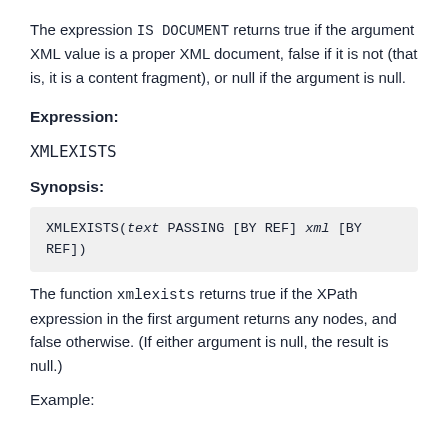The expression IS DOCUMENT returns true if the argument XML value is a proper XML document, false if it is not (that is, it is a content fragment), or null if the argument is null.
Expression:
XMLEXISTS
Synopsis:
XMLEXISTS(text PASSING [BY REF] xml [BY REF])
The function xmlexists returns true if the XPath expression in the first argument returns any nodes, and false otherwise. (If either argument is null, the result is null.)
Example: